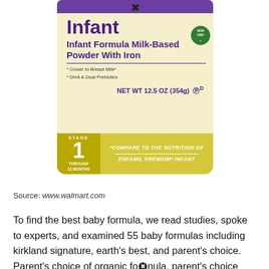[Figure (photo): A can of Parent's Choice Infant Formula Milk-Based Powder With Iron. The can is cream/yellow colored with purple branding. It shows 'Infant' in large bold purple text, 'Infant Formula Milk-Based Powder With Iron', bullet points for 'Closer to Breast Milk' and 'DHA & Dual Prebiotics', 'NET WT 12.5 OZ (354g)', a Non-GMO badge, and a yellow bottom band with Stage 1 through 12 months and a comparison to Enfamil Premium Infant formula. There is also a close/X button overlay.]
Source: www.walmart.com
To find the best baby formula, we read studies, spoke to experts, and examined 55 baby formulas including kirkland signature, earth's best, and parent's choice. Parent's choice of organic formula, parent's choice soy,